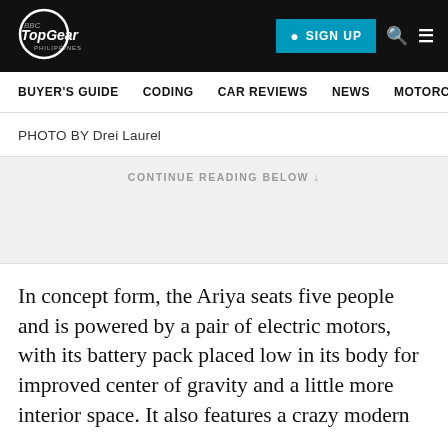TopGear Philippines | SIGN UP
BUYER'S GUIDE   CODING   CAR REVIEWS   NEWS   MOTORCY
PHOTO BY Drei Laurel
CONTINUE READING BELOW ↓
In concept form, the Ariya seats five people and is powered by a pair of electric motors, with its battery pack placed low in its body for improved center of gravity and a little more interior space. It also features a crazy modern